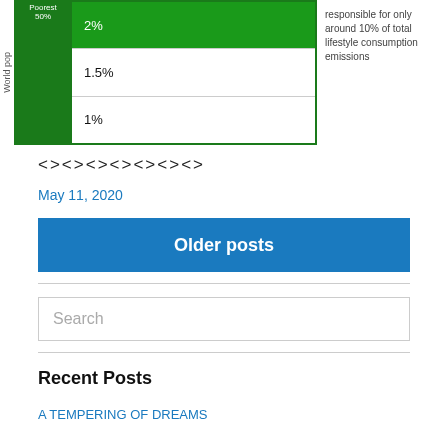[Figure (infographic): Partial infographic showing a green bar chart with world population percentages (Poorest 50%: 2%, 1.5%, 1%) and a note about 10% of total lifestyle consumption emissions]
<><><><><><><>
May 11, 2020
Older posts
Search
Recent Posts
A TEMPERING OF DREAMS